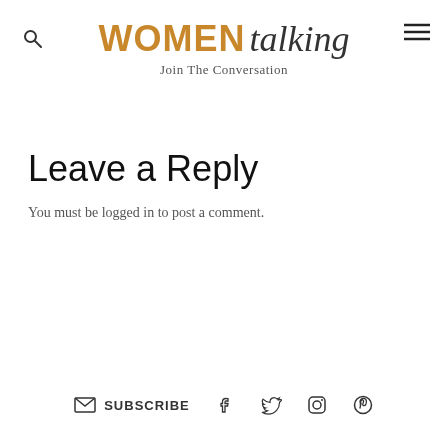WOMEN talking — Join The Conversation
Leave a Reply
You must be logged in to post a comment.
SUBSCRIBE | Facebook | Twitter | Instagram | Pinterest